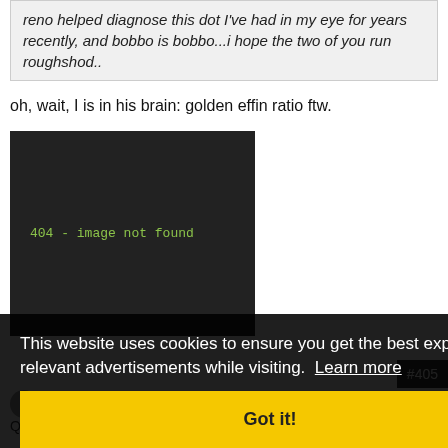reno helped diagnose this dot I've had in my eye for years recently, and bobbo is bobbo...i hope the two of you run roughshod..
oh, wait, I is in his brain: golden effin ratio ftw.
[Figure (screenshot): Dark terminal-style image placeholder showing '404 - image not found' in green monospace text on a dark background]
This website uses cookies to ensure you get the best experience and relevant advertisements while visiting. Learn more
Got it!
#405
renodoc
Casino Olympics Champion
Quote:
Originally Posted by BobboFitos